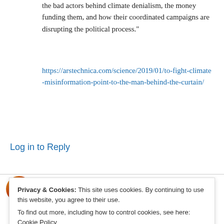the bad actors behind climate denialism, the money funding them, and how their coordinated campaigns are disrupting the political process."
https://arstechnica.com/science/2019/01/to-fight-climate-misinformation-point-to-the-man-behind-the-curtain/
Log in to Reply
redskylite on January 21, 2019 at 12:19 am
Privacy & Cookies: This site uses cookies. By continuing to use this website, you agree to their use.
To find out more, including how to control cookies, see here: Cookie Policy